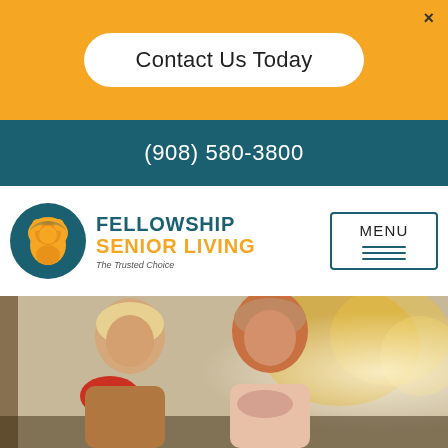×
Contact Us Today
(908) 580-3800
[Figure (logo): Fellowship Senior Living logo: a lion inside a teal circle with golden lion silhouette, text FELLOWSHIP SENIOR LIVING The Trusted Choice]
MENU
[Figure (photo): Two senior women sitting outdoors on a bench, laughing and talking, with trees and soft-focus fall foliage in background]